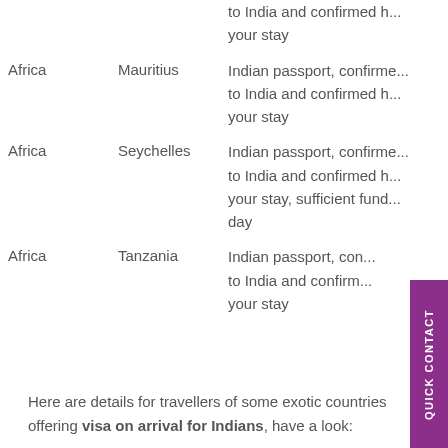| Region | Country | Requirements |
| --- | --- | --- |
| Africa | Kenya | to India and confirmed h... your stay |
| Africa | Mauritius | Indian passport, confirme... to India and confirmed h... your stay |
| Africa | Seychelles | Indian passport, confirme... to India and confirmed he... your stay, sufficient fund... day |
| Africa | Tanzania | Indian passport, con... to India and confirm... your stay |
Here are details for travellers of some exotic countries offering visa on arrival for Indians, have a look: